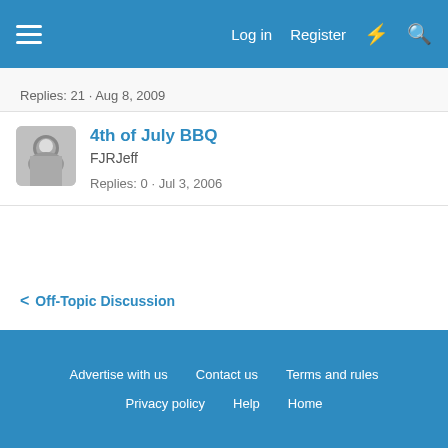Log in  Register
Replies: 21 · Aug 8, 2009
4th of July BBQ
FJRJeff
Replies: 0 · Jul 3, 2006
< Off-Topic Discussion
Advertise with us  Contact us  Terms and rules  Privacy policy  Help  Home
Community platform by XenForo® © 2010-2022 XenForo Ltd.